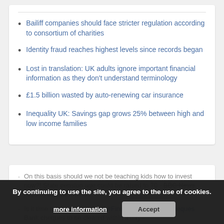Bailiff companies should face stricter regulation according to consortium of charities
Identity fraud reaches highest levels since records began
Lost in translation: UK adults ignore important financial information as they don't understand terminology
£1.5 billion wasted by auto-renewing car insurance
Inequality UK: Savings gap grows 25% between high and low income families
On this basis should we not be teaching kids how to invest now?! State pension age could be raised to 70 - BBC News https://t.co/CfdChwwdS
Is it time to phase them out? #Finance #Banking #Cheques Bank cheques to be cleared within a day -